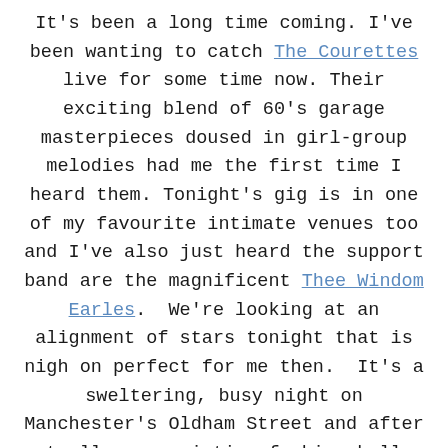It's been a long time coming. I've been wanting to catch The Courettes live for some time now. Their exciting blend of 60's garage masterpieces doused in girl-group melodies had me the first time I heard them. Tonight's gig is in one of my favourite intimate venues too and I've also just heard the support band are the magnificent Thee Windom Earles.  We're looking at an alignment of stars tonight that is nigh on perfect for me then.  It's a sweltering, busy night on Manchester's Oldham Street and after mutually appreciative fashion hellos with the headline husband-and-wife duo I head inside the legendary Night and Day to see what awaits.